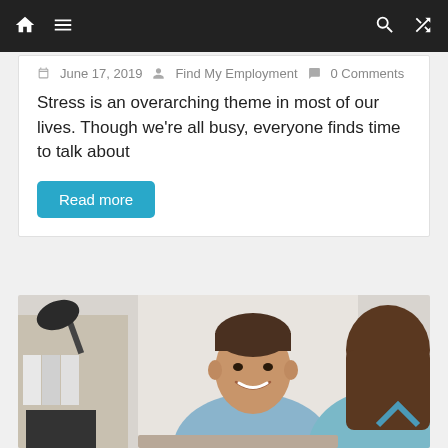Navigation bar with home, menu, search, shuffle icons
June 17, 2019  Find My Employment  0 Comments
Stress is an overarching theme in most of our lives. Though we're all busy, everyone finds time to talk about
Read more
[Figure (photo): A smiling young man in a light blue shirt sitting across from a woman with brown hair in a professional office interview setting, with shelves and binders visible in the background.]